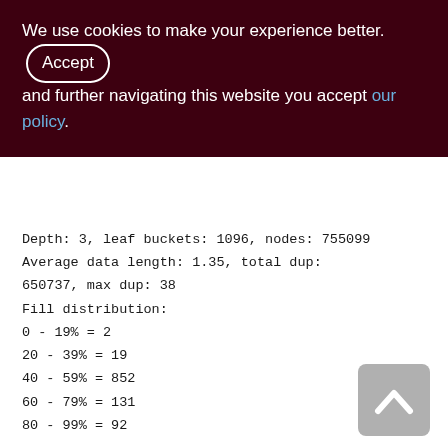We use cookies to make your experience better. By accepting and further navigating this website you accept our policy.
Depth: 3, leaf buckets: 1096, nodes: 755099
Average data length: 1.35, total dup:
650737, max dup: 38
Fill distribution:
0 - 19% = 2
20 - 39% = 19
40 - 59% = 852
60 - 79% = 131
80 - 99% = 92

XQS_1000_1200 (264)
Primary pointer page: 667, Index root page:
668